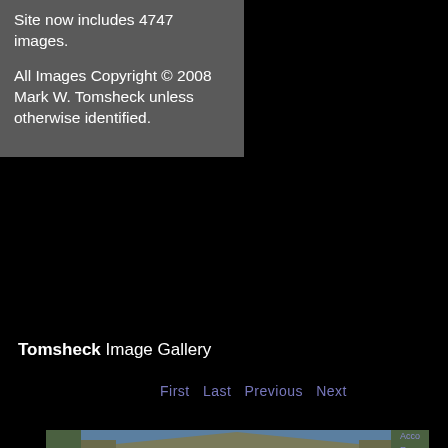Site now includes 4747 images.

All Images Copyright © 2008 Mark W. Tomsheck unless otherwise identified.
Tomsheck Image Gallery
First  Last  Previous  Next
[Figure (photo): Outdoor safari tent/lodge with people sitting on front deck, trees and blue sky in background]
Acco Ra...  Cat Ca... Fil Lo... Re Pho (Ph...